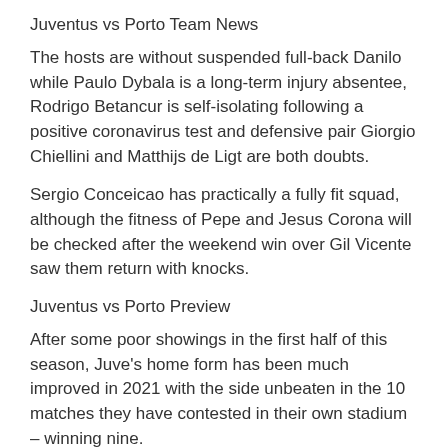Juventus vs Porto Team News
The hosts are without suspended full-back Danilo while Paulo Dybala is a long-term injury absentee, Rodrigo Betancur is self-isolating following a positive coronavirus test and defensive pair Giorgio Chiellini and Matthijs de Ligt are both doubts.
Sergio Conceicao has practically a fully fit squad, although the fitness of Pepe and Jesus Corona will be checked after the weekend win over Gil Vicente saw them return with knocks.
Juventus vs Porto Preview
After some poor showings in the first half of this season, Juve's home form has been much improved in 2021 with the side unbeaten in the 10 matches they have contested in their own stadium – winning nine.
All of those victories have come with the side scoring at least twice and while Pirlo's men would secure